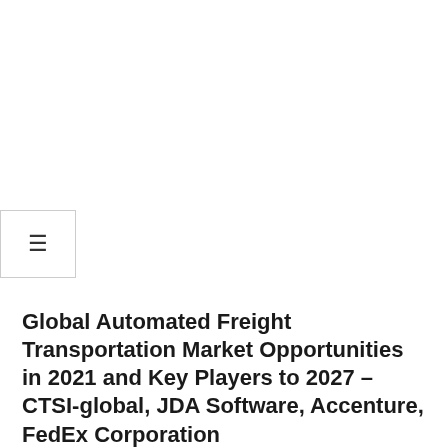[Figure (other): Hamburger menu button icon (three horizontal lines) in a bordered box]
Global Automated Freight Transportation Market Opportunities in 2021 and Key Players to 2027 – CTSI-global, JDA Software, Accenture, FedEx Corporation
BY: CHARLES L. SLOAN / ON: FEBRUARY 6, 2022 / IN: FRANCE TRANSPORT / TAGGED: AMERICA BRAZIL, ASIA PACIFIC, CHINA JAPAN, EAST AFRICA, FORECAST PERIOD, GERMANY FRANCE, MARKET RESEARCH, MARKET SHARE, MIDDLE EAST, NORTH AMERICA, STATES CANADA, UNITED STATES
the Global automated freight transport market will increase from 2021 to 2027, depending on MarketsandResearch.biz analysis,